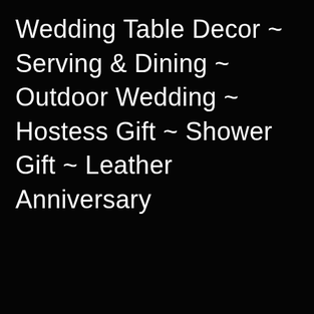Wedding Table Decor ~ Serving & Dining ~ Outdoor Wedding ~ Hostess Gift ~ Shower Gift ~ Leather Anniversary